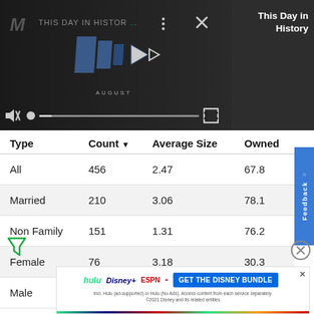[Figure (screenshot): Video player showing 'This Day in History' content with play controls, progress bar, mute icon, and dark themed interface. Title panel reads 'This Day in History' on the right.]
| Type | Count ▼ | Average Size | Owned |
| --- | --- | --- | --- |
| All | 456 | 2.47 | 67.8 |
| Married | 210 | 3.06 | 78.1 |
| Non Family | 151 | 1.31 | 76.2 |
| Female | 76 | 3.18 | 30.3 |
| Male | 19 | 2.26 | 36.8 |
[Figure (screenshot): Feedback tab on right side in blue]
[Figure (screenshot): Filter icon (funnel) at bottom left]
[Figure (screenshot): Close/X circle icon at bottom right]
[Figure (screenshot): Disney Bundle advertisement banner at bottom with Hulu, Disney+, ESPN+ logos and 'GET THE DISNEY BUNDLE' CTA button]